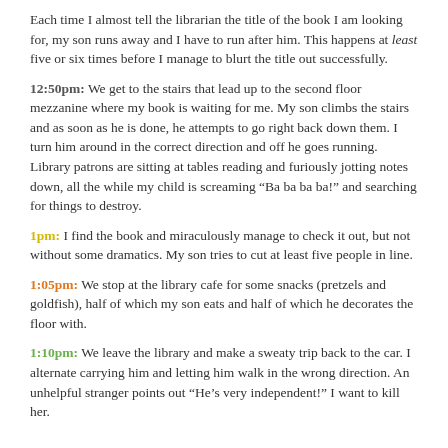Each time I almost tell the librarian the title of the book I am looking for, my son runs away and I have to run after him. This happens at least five or six times before I manage to blurt the title out successfully.
12:50pm: We get to the stairs that lead up to the second floor mezzanine where my book is waiting for me. My son climbs the stairs and as soon as he is done, he attempts to go right back down them. I turn him around in the correct direction and off he goes running. Library patrons are sitting at tables reading and furiously jotting notes down, all the while my child is screaming “Ba ba ba ba!” and searching for things to destroy.
1pm: I find the book and miraculously manage to check it out, but not without some dramatics. My son tries to cut at least five people in line.
1:05pm: We stop at the library cafe for some snacks (pretzels and goldfish), half of which my son eats and half of which he decorates the floor with.
1:10pm: We leave the library and make a sweaty trip back to the car. I alternate carrying him and letting him walk in the wrong direction. An unhelpful stranger points out “He’s very independent!” I want to kill her.